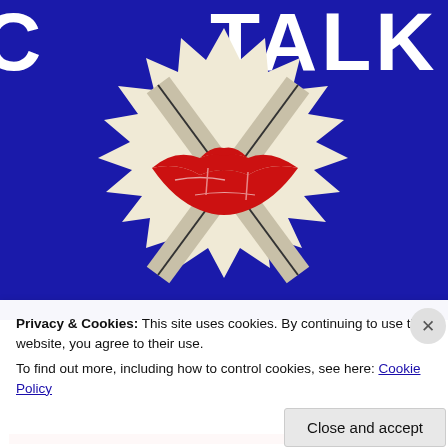[Figure (illustration): Pop art style poster with blue background. Large white bold letters spelling 'TALK' at the top right. A starburst/explosion shape in cream/white contains crossed diagonal lines (like an X) and bold red lips (mouth) in the center. Partial white lettering visible at top left (partially cropped).]
Privacy & Cookies: This site uses cookies. By continuing to use this website, you agree to their use.
To find out more, including how to control cookies, see here: Cookie Policy
Close and accept